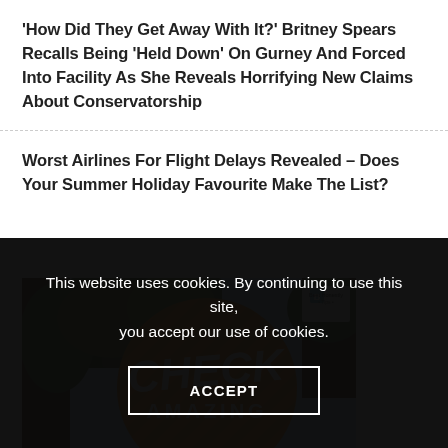'How Did They Get Away With It?' Britney Spears Recalls Being 'Held Down' On Gurney And Forced Into Facility As She Reveals Horrifying New Claims About Conservatorship
Worst Airlines For Flight Delays Revealed – Does Your Summer Holiday Favourite Make The List?
[Figure (photo): Advertisement image with orange circle overlay showing 'CHECK' in large text and 'AMAZING' below, with tropical trees in background and 'Best Honestly Tips' logo in top right corner]
This website uses cookies. By continuing to use this site, you accept our use of cookies.
ACCEPT